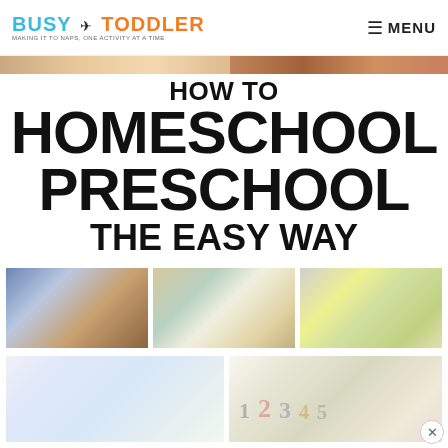BUSY TODDLER — MAKING IT TO NAPS, ONE ACTIVITY AT A TIME | MENU
[Figure (photo): Partial top image strip showing craft/activity photos]
HOW TO
HOMESCHOOL
PRESCHOOL
THE EASY WAY
[Figure (photo): Child playing with sensory bin activity on floor]
[Figure (photo): Mother and child playing jumping game on couch with colorful balls]
[Figure (photo): Child cutting colorful paper with scissors]
[Figure (photo): Colorful foam shapes and stars on light background]
[Figure (photo): Numbers 1 2 3 4 5 on light background for counting activity]